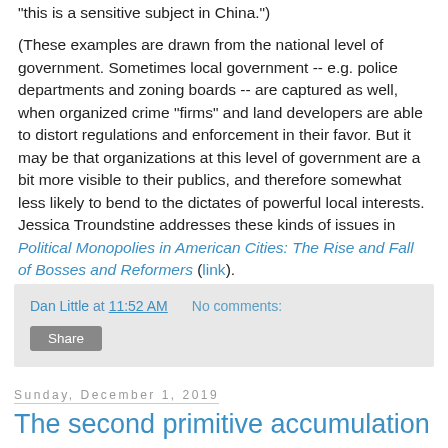"this is a sensitive subject in China.")
(These examples are drawn from the national level of government. Sometimes local government -- e.g. police departments and zoning boards -- are captured as well, when organized crime "firms" and land developers are able to distort regulations and enforcement in their favor. But it may be that organizations at this level of government are a bit more visible to their publics, and therefore somewhat less likely to bend to the dictates of powerful local interests. Jessica Troundstine addresses these kinds of issues in Political Monopolies in American Cities: The Rise and Fall of Bosses and Reformers (link).
Dan Little at 11:52 AM   No comments:
Share
Sunday, December 1, 2019
The second primitive accumulation